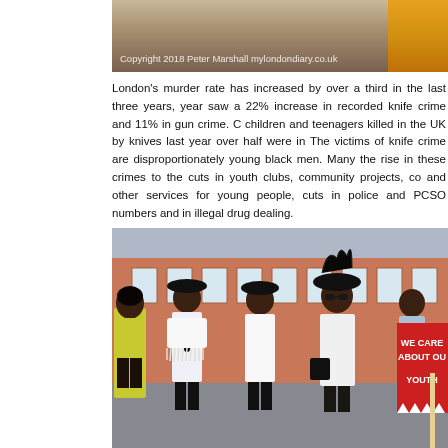[Figure (photo): Top portion of a photo showing people on a street, with a yellow/orange element visible at top right. Watermark reads: Copyright 2018 Peter Marshall mylondondiary.co.uk]
London's murder rate has increased by over a third in the last three years, year saw a 22% increase in recorded knife crime and 11% in gun crime. Children and teenagers killed in the UK by knives last year over half were in London. The victims of knife crime are disproportionately young black men. Many link the rise in these crimes to the cuts in youth clubs, community projects, co and other services for young people, cuts in police and PCSO numbers and in illegal drug dealing.
[Figure (photo): Photograph of a group of Black women dressed in black hats and white outfits, standing in a line outdoors in front of a red brick building. One woman on the far right holds a red sign that reads 'WE CARE ABOUT OUR YOUTH'. Some women wear yellow safety vests.]